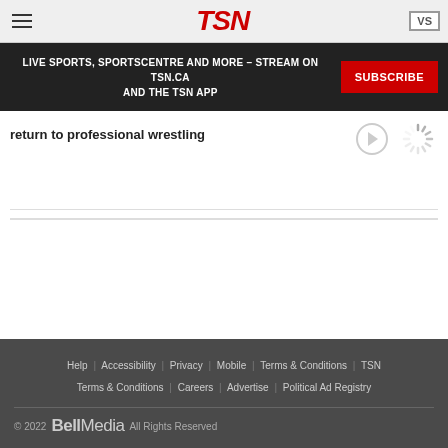TSN — Live Sports, SportsCentre and more — Stream on TSN.ca and the TSN App — Subscribe
return to professional wrestling
[Figure (other): Loading spinner icon]
Help | Accessibility | Privacy | Mobile | Terms & Conditions | TSN Terms & Conditions | Careers | Advertise | Political Ad Registry | © 2022 Bell Media All Rights Reserved